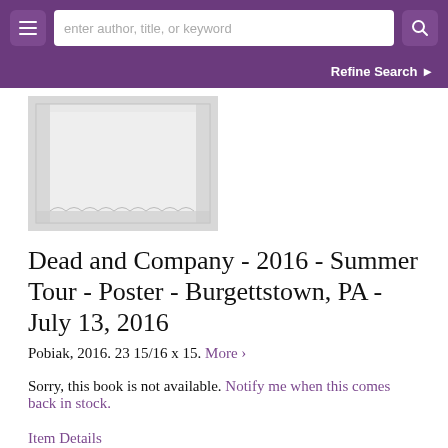enter author, title, or keyword | Refine Search
[Figure (illustration): A decorative poster placeholder image with ornate border pattern on light gray background]
Dead and Company - 2016 - Summer Tour - Poster - Burgettstown, PA - July 13, 2016
Pobiak, 2016. 23 15/16 x 15. More ›
Sorry, this book is not available. Notify me when this comes back in stock.
Item Details
Ask a Question